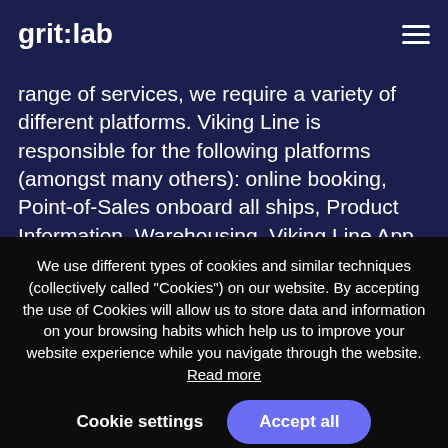grit:lab
range of services, we require a variety of different platforms. Viking Line is responsible for the following platforms (amongst many others): online booking, Point-of-Sales onboard all ships, Product Information, Warehousing, Viking Line App, Web pre-order and more. These platforms are a combination of internally built systems and acquired, out-of-the-box solutions.
We use different types of cookies and similar techniques (collectively called "Cookies") on our website. By accepting the use of Cookies will allow us to store data and information on your browsing habits which help us to improve your website experience while you navigate through the website. Read more
Cookie settings    Accept all